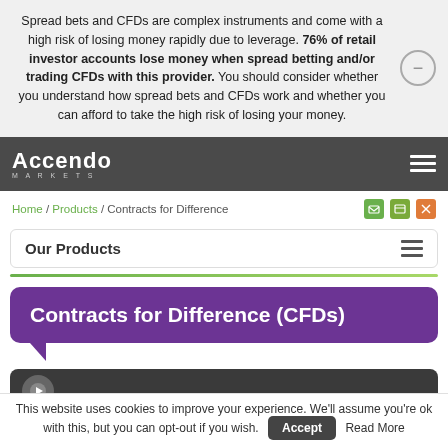Spread bets and CFDs are complex instruments and come with a high risk of losing money rapidly due to leverage. 76% of retail investor accounts lose money when spread betting and/or trading CFDs with this provider. You should consider whether you understand how spread bets and CFDs work and whether you can afford to take the high risk of losing your money.
Accendo Markets
Home / Products / Contracts for Difference
Our Products
Contracts for Difference (CFDs)
This website uses cookies to improve your experience. We'll assume you're ok with this, but you can opt-out if you wish. Accept Read More